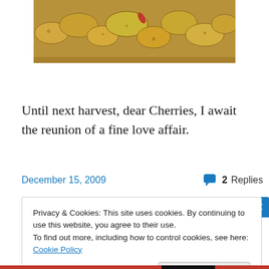[Figure (photo): Cropped top portion of a photo showing golden-yellow fingerling potatoes on a tray, partially visible at top of page.]
Until next harvest, dear Cherries, I await the reunion of a fine love affair.
December 15, 2009
2 Replies
Privacy & Cookies: This site uses cookies. By continuing to use this website, you agree to their use.
To find out more, including how to control cookies, see here: Cookie Policy